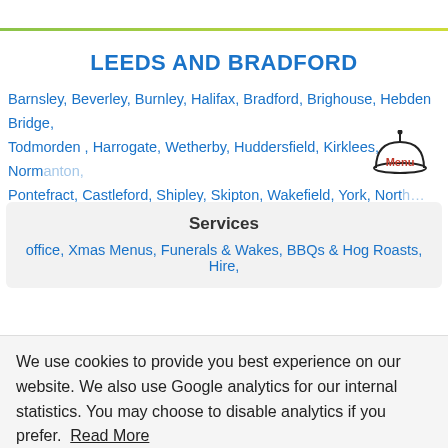LEEDS AND BRADFORD
Barnsley, Beverley, Burnley, Halifax, Bradford, Brighouse, Hebden Bridge, Todmorden , Harrogate, Wetherby, Huddersfield, Kirklees, Normanton, Pontefract, Castleford, Shipley, Skipton, Wakefield, York, Nort…re,
Services
office, Xmas Menus, Funerals & Wakes, BBQs & Hog Roasts, Hire,
[Figure (illustration): A bell/menu icon with 'Menu' text in red beneath a dome bell shape]
We use cookies to provide you best experience on our website. We also use Google analytics for our internal statistics. You may choose to disable analytics if you prefer. Read More
Disable analytics   Got It!